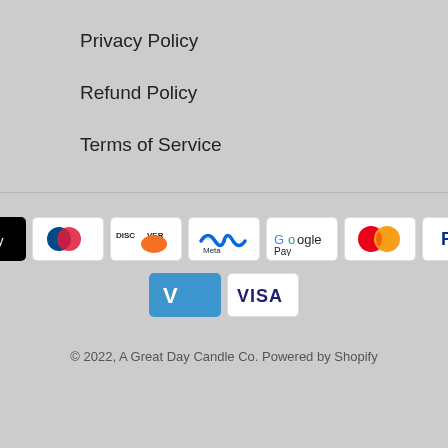Privacy Policy
Refund Policy
Terms of Service
[Figure (logo): Payment method icons: American Express, Apple Pay, Diners Club, Discover, Meta Pay, Google Pay, Mastercard, PayPal, Shop Pay, Venmo, Visa]
© 2022, A Great Day Candle Co. Powered by Shopify